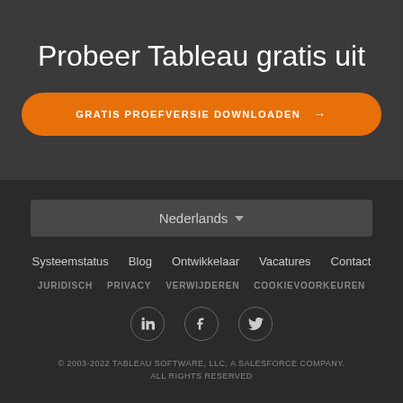Probeer Tableau gratis uit
GRATIS PROEFVERSIE DOWNLOADEN →
Nederlands ▼
Systeemstatus
Blog
Ontwikkelaar
Vacatures
Contact
JURIDISCH
PRIVACY
VERWIJDEREN
COOKIEVOORKEUREN
[Figure (illustration): LinkedIn, Facebook, Twitter social media icons in circles]
© 2003-2022 TABLEAU SOFTWARE, LLC, A SALESFORCE COMPANY. ALL RIGHTS RESERVED